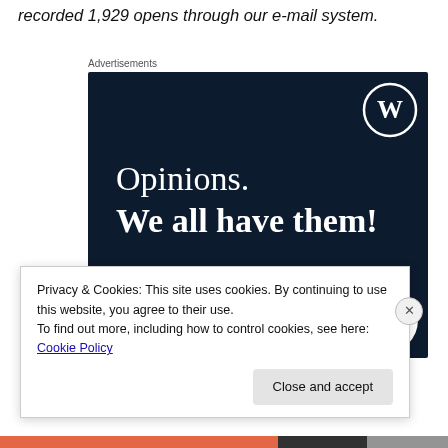recorded 1,929 opens through our e-mail system.
Advertisements
[Figure (illustration): WordPress/Crowdsignal advertisement with dark navy background. Shows WordPress logo (W in circle) top right, large white serif text reading 'Opinions. We all have them!', a pink rounded button labeled 'Start a survey', and the Crowdsignal logo (circular white badge) bottom right.]
Privacy & Cookies: This site uses cookies. By continuing to use this website, you agree to their use.
To find out more, including how to control cookies, see here: Cookie Policy
Close and accept